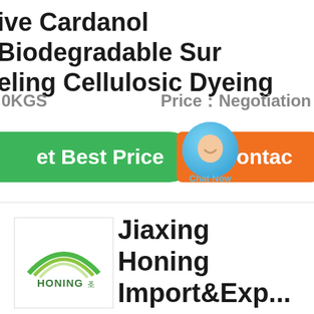ive Cardanol Biodegradable Sur eling Cellulosic Dyeing
0KGS   Price：Negotiation
[Figure (screenshot): Green 'Get Best Price' button, chat bubble overlay with 'Chat Now' label, and orange 'Contact' button]
Jiaxing Honing Import&Exp...